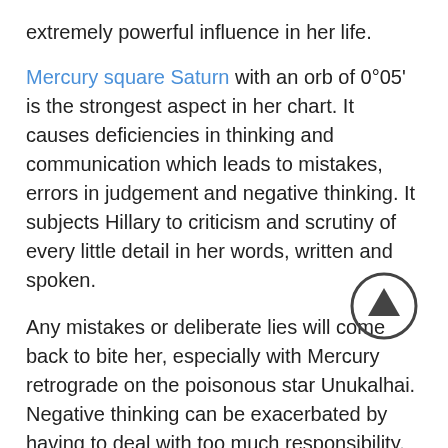extremely powerful influence in her life.
Mercury square Saturn with an orb of 0°05' is the strongest aspect in her chart. It causes deficiencies in thinking and communication which leads to mistakes, errors in judgement and negative thinking. It subjects Hillary to criticism and scrutiny of every little detail in her words, written and spoken.
Any mistakes or deliberate lies will come back to bite her, especially with Mercury retrograde on the poisonous star Unukalhai. Negative thinking can be exacerbated by having to deal with too much responsibility.
Lack of self respect, and feelings of isolation and depression can lead to resentment and nastiness. Hillary has obviously worked though a lot of these heavy karmic issues to reach such a high position but she still suffers from being
called untrustworthy and nasty.